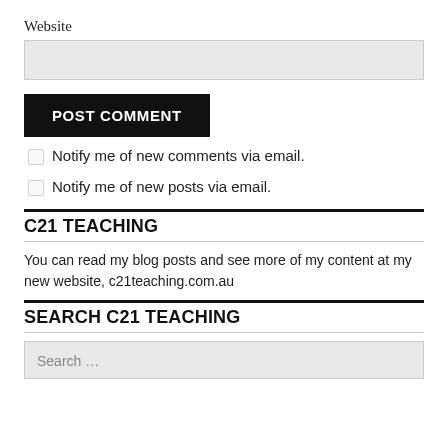Website
POST COMMENT
Notify me of new comments via email.
Notify me of new posts via email.
C21 TEACHING
You can read my blog posts and see more of my content at my new website, c21teaching.com.au
SEARCH C21 TEACHING
Search …